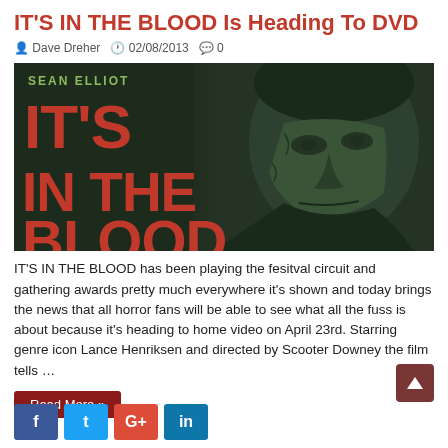IT'S IN THE BLOOD Is Heading To DVD
Dave Dreher  02/08/2013  0
[Figure (photo): Movie poster/cover for 'It's In The Blood' featuring large red text 'IT'S IN THE BLOOD' and actor Sean Elliot's name at the top, with a dark dramatic close-up of a man's face on the right side against a dark green/black background.]
IT'S IN THE BLOOD has been playing the fesitval circuit and gathering awards pretty much everywhere it's shown and today brings the news that all horror fans will be able to see what all the fuss is about because it's heading to home video on April 23rd. Starring genre icon Lance Henriksen and directed by Scooter Downey the film tells …